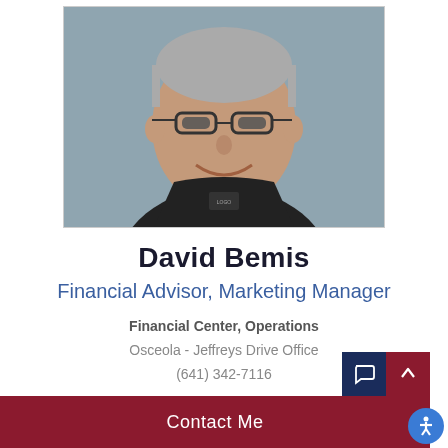[Figure (photo): Professional headshot of David Bemis, a middle-aged man with gray hair, glasses, and a dark polo shirt with a company logo, smiling against a gray background.]
David Bemis
Financial Advisor, Marketing Manager
Financial Center, Operations
Osceola - Jeffreys Drive Office
(641) 342-7116
Contact Me